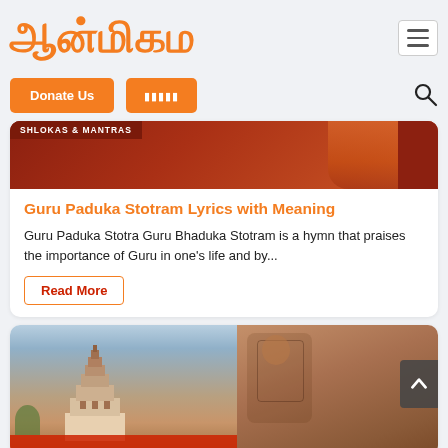ஆன்மிகம
Donate Us
தமிழ்
[Figure (photo): Reddish-brown background with a figure in saffron robes, with SHLOKAS & MANTRAS badge overlay]
Guru Paduka Stotram Lyrics with Meaning
Guru Paduka Stotra Guru Bhaduka Stotram is a hymn that praises the importance of Guru in one's life and by...
Read More
[Figure (photo): Temple gopuram on a hill with a split image showing a stone sculpture of a deity on the right side; scroll-to-top arrow button visible on right edge]